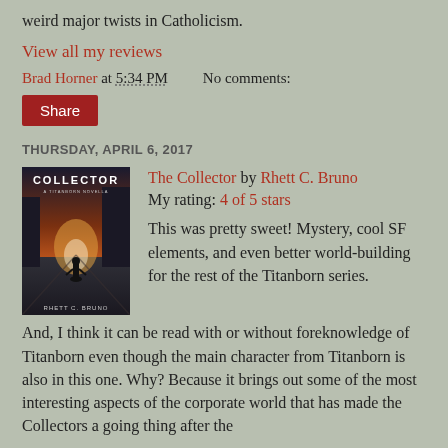weird major twists in Catholicism.
View all my reviews
Brad Horner at 5:34 PM    No comments:
Share
THURSDAY, APRIL 6, 2017
[Figure (photo): Book cover for 'The Collector' by Rhett C. Bruno — dark urban street scene with a figure in foreground, orange/sunset sky background]
The Collector by Rhett C. Bruno
My rating: 4 of 5 stars

This was pretty sweet! Mystery, cool SF elements, and even better world-building for the rest of the Titanborn series.
And, I think it can be read with or without foreknowledge of Titanborn even though the main character from Titanborn is also in this one. Why? Because it brings out some of the most interesting aspects of the corporate world that has made the Collectors a going thing after the